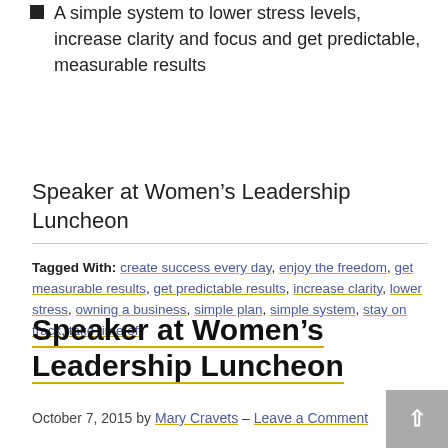A simple system to lower stress levels, increase clarity and focus and get predictable, measurable results
Speaker at Women’s Leadership Luncheon
Tagged With: create success every day, enjoy the freedom, get measurable results, get predictable results, increase clarity, lower stress, owning a business, simple plan, simple system, stay on track, take time off
Speaker at Women’s Leadership Luncheon
October 7, 2015 by Mary Cravets – Leave a Comment